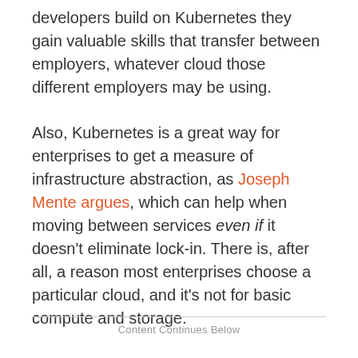developers build on Kubernetes they gain valuable skills that transfer between employers, whatever cloud those different employers may be using.
Also, Kubernetes is a great way for enterprises to get a measure of infrastructure abstraction, as Joseph Mente argues, which can help when moving between services even if it doesn't eliminate lock-in. There is, after all, a reason most enterprises choose a particular cloud, and it's not for basic compute and storage.
Content Continues Below